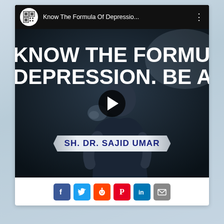[Figure (screenshot): YouTube video thumbnail screenshot showing 'Know The Formula Of Depressio...' with a man in distress and text overlay 'KNOW THE FORMULA OF DEPRESSION. BE AWARE' and speaker name 'SH. DR. SAJID UMAR']
[Figure (infographic): Social media sharing icons row: Facebook, Twitter, Reddit, Pinterest, LinkedIn, Email]